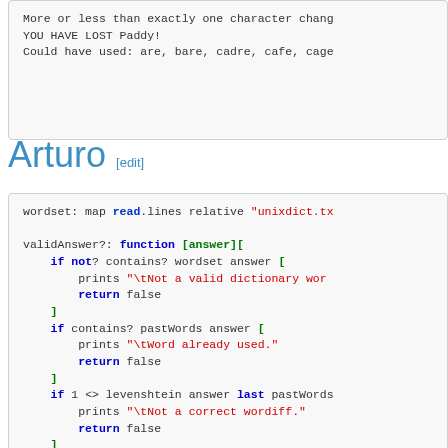[Figure (screenshot): Code output box showing: 'More or less than exactly one character change', 'YOU HAVE LOST Paddy!', 'Could have used: are, bare, cadre, cafe, cage']
Arturo [edit]
[Figure (screenshot): Code block showing Arturo programming language code for wordset and validAnswer? function with levenshtein distance check]